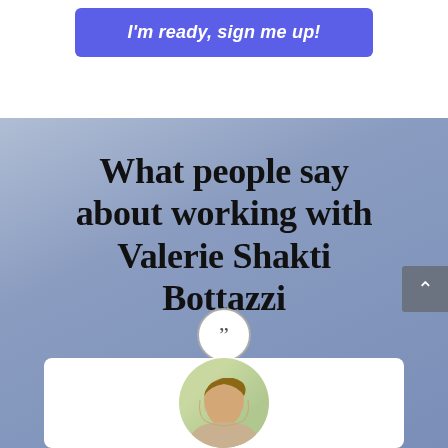I'm ready, sign me up!
What people say about working with Valerie Shakti Bottazzi
[Figure (illustration): Circular quote icon with double quotation marks, followed by a white testimonial card with a circular photo of a person]